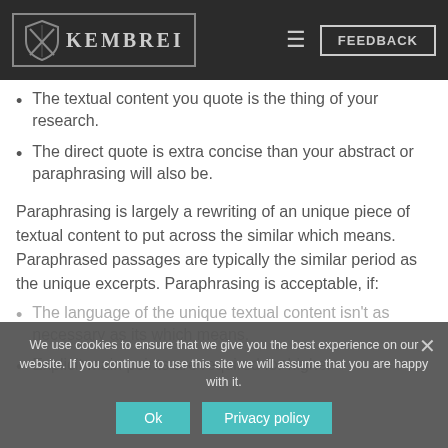KEMBREI | FEEDBACK
The textual content you quote is the thing of your research.
The direct quote is extra concise than your abstract or paraphrasing will also be.
Paraphrasing is largely a rewriting of an unique piece of textual content to put across the similar which means. Paraphrased passages are typically the similar period as the unique excerpts. Paraphrasing is acceptable, if:
The language of the unique textual content isn't as necessary as its which means.
Explicit main points are required for higher
We use cookies to ensure that we give you the best experience on our website. If you continue to use this site we will assume that you are happy with it.